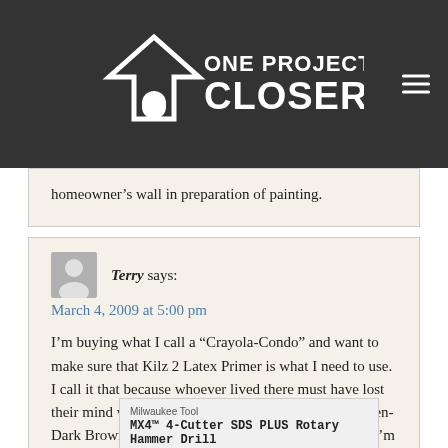ONE PROJECT CLOSER
homeowner's wall in preparation of painting.
Terry says:
March 4, 2009 at 5:00 pm

I'm buying what I call a “Crayola-Condo” and want to make sure that Kilz 2 Latex Primer is what I need to use. I call it that because whoever lived there must have lost their mind when chosing colors…Orange-Yellow-Green-Dark Brown! Thank god they left the ceiling’s white. I'm going through s